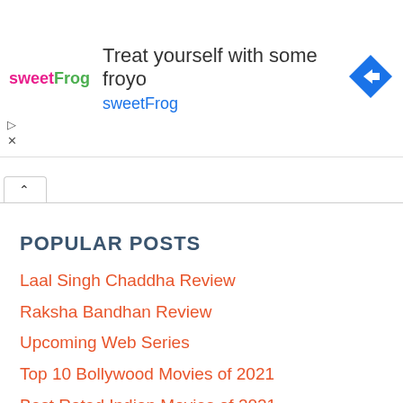[Figure (screenshot): Advertisement banner for sweetFrog frozen yogurt. Shows sweetFrog logo on left, text 'Treat yourself with some froyo' and 'sweetFrog' link in center, blue diamond navigation arrow icon on right.]
POPULAR POSTS
Laal Singh Chaddha Review
Raksha Bandhan Review
Upcoming Web Series
Top 10 Bollywood Movies of 2021
Best Rated Indian Movies of 2021
Box Office Collection
Upcoming Movies